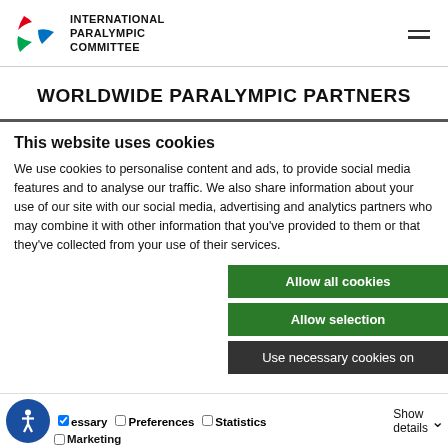INTERNATIONAL PARALYMPIC COMMITTEE
WORLDWIDE PARALYMPIC PARTNERS
This website uses cookies
We use cookies to personalise content and ads, to provide social media features and to analyse our traffic. We also share information about your use of our site with our social media, advertising and analytics partners who may combine it with other information that you've provided to them or that they've collected from your use of their services.
Allow all cookies
Allow selection
Use necessary cookies on
essary  Preferences  Statistics  Show details  Marketing